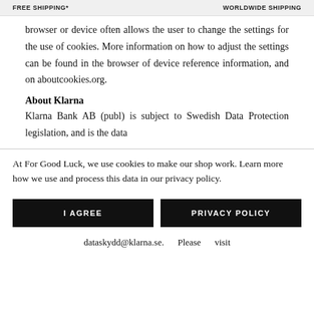FREE SHIPPING*    WORLDWIDE SHIPPING
browser or device often allows the user to change the settings for the use of cookies. More information on how to adjust the settings can be found in the browser of device reference information, and on aboutcookies.org.
About Klarna
Klarna Bank AB (publ) is subject to Swedish Data Protection legislation, and is the data
At For Good Luck, we use cookies to make our shop work. Learn more how we use and process this data in our privacy policy.
I AGREE
PRIVACY POLICY
dataskydd@klarna.se.    Please    visit